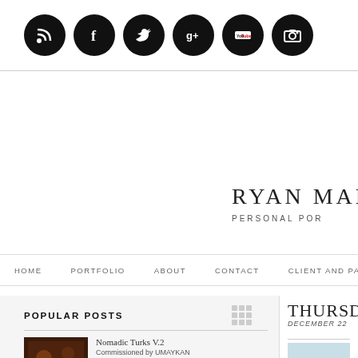[Figure (other): Row of 6 social media icon circles (RSS, Facebook, Twitter, Google+, YouTube, Camera/Flickr) in black circles]
RYAN MAH
PERSONAL POR
HOME   PORTFOLIO   ABOUT   CONTACT   CLIENT AND PA
POPULAR POSTS
THURSDAY   DECEMBER 22
Nomadic Turks V.2
Commissioned by UMAYKAN LLC